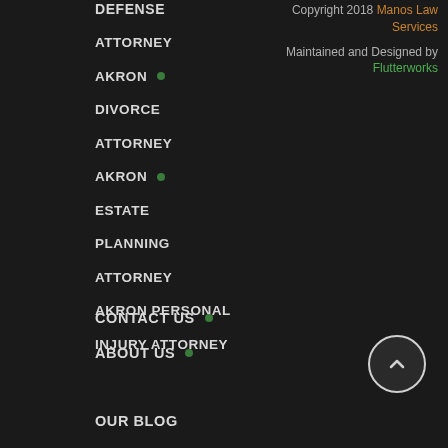DEFENSE
ATTORNEY
AKRON
DIVORCE
ATTORNEY
AKRON
ESTATE
PLANNING
ATTORNEY
AKRON PERSONAL
INJURY ATTORNEY
Copyright 2018 Manos Law Services
Maintained and Designed by Flutterworks
CONTACT US
ABOUT US
OUR BLOG